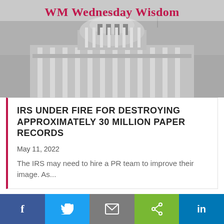[Figure (photo): Black and white photo of the United States Capitol building dome with 'WM Wednesday Wisdom' text overlaid in dark red at the top]
IRS UNDER FIRE FOR DESTROYING APPROXIMATELY 30 MILLION PAPER RECORDS
May 11, 2022
The IRS may need to hire a PR team to improve their image. As...